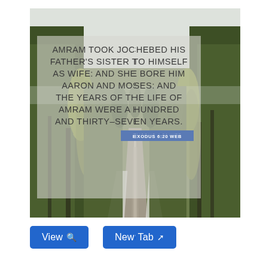[Figure (photo): Forest road photo: a straight road disappearing into the distance flanked by tall evergreen trees (pines/firs) with snowy ground visible. Sky is overcast/white. Trees are dense green on both sides. Over the image is a semi-transparent overlay with a Bible quote in uppercase letters: 'AMRAM TOOK JOCHEBED HIS FATHER'S SISTER TO HIMSELF AS WIFE: AND SHE BORE HIM AARON AND MOSES: AND THE YEARS OF THE LIFE OF AMRAM WERE A HUNDRED AND THIRTY-SEVEN YEARS.' with a blue badge reading 'EXODUS 6:20 WEB'.]
View 🔍
New Tab 📤